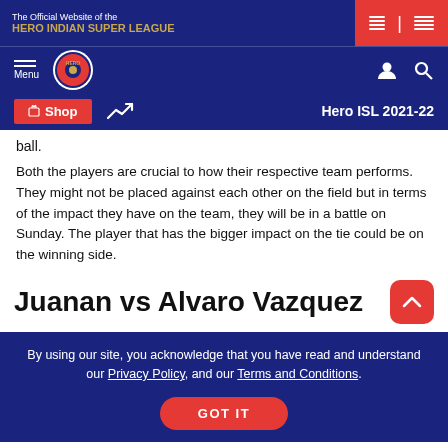The Official Website of the HERO INDIAN SUPER LEAGUE
Menu | Hero ISL 2021-22
Shop | Hero ISL 2021-22
ball.
Both the players are crucial to how their respective team performs. They might not be placed against each other on the field but in terms of the impact they have on the team, they will be in a battle on Sunday. The player that has the bigger impact on the tie could be on the winning side.
Juanan vs Alvaro Vazquez
By using our site, you acknowledge that you have read and understand our Privacy Policy, and our Terms and Conditions.
GOT IT